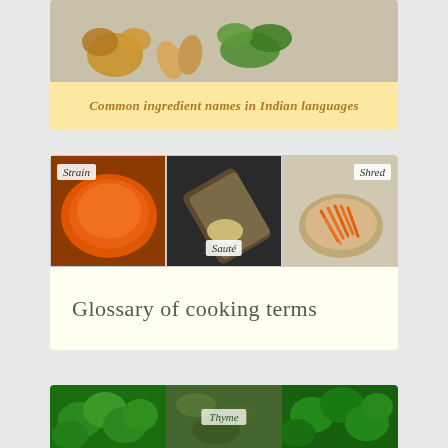[Figure (photo): Photo of mixed nuts, green leaves, seeds, and spices on white background - card for Common ingredient names in Indian languages]
Common ingredient names in Indian languages
[Figure (photo): Three cooking technique photos: strained orange puree labeled Strain, sautéed butter labeled Sauté, shredded carrots labeled Shred]
Glossary of cooking terms
[Figure (photo): Three photos of herbs including basil and thyme plants with Thyme label visible]